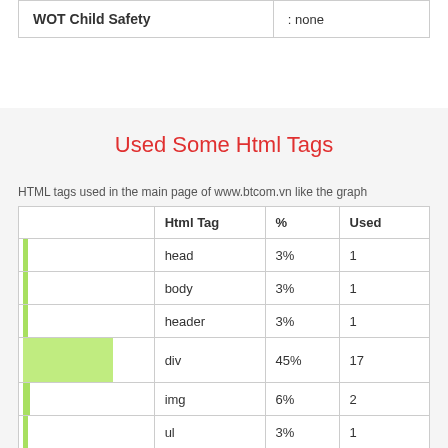|  |  |
| --- | --- |
| WOT Child Safety | : none |
Used Some Html Tags
HTML tags used in the main page of www.btcom.vn like the graph
|  | Html Tag | % | Used |
| --- | --- | --- | --- |
| [bar] | head | 3% | 1 |
| [bar] | body | 3% | 1 |
| [bar] | header | 3% | 1 |
| [bar-wide] | div | 45% | 17 |
| [bar] | img | 6% | 2 |
| [bar] | ul | 3% | 1 |